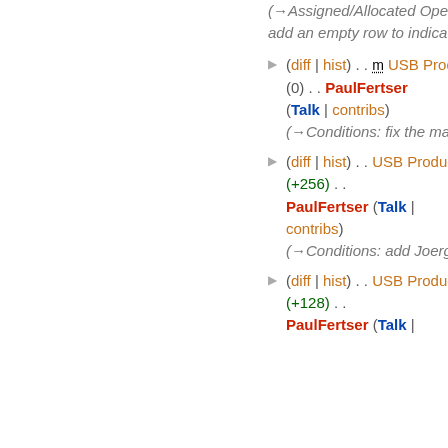(→Assigned/Allocated Openmoko USB Product IDs: add an empty row to indicate gap)
(diff | hist) . . m USB Product IDs; 10:31 . . (0) . . PaulFertser (Talk | contribs) (→Conditions: fix the mailto uri)
(diff | hist) . . USB Product IDs; 10:29 . . (+256) . . PaulFertser (Talk | contribs) (→Conditions: add Joerg and Paul to contacts)
(diff | hist) . . USB Product IDs; 10:20 . . (+128) . . PaulFertser (Talk |